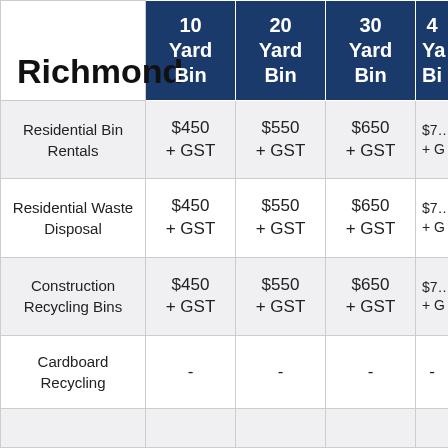| Richmond | 10 Yard Bin | 20 Yard Bin | 30 Yard Bin | 40 Yard Bin |
| --- | --- | --- | --- | --- |
| Residential Bin Rentals | $450 + GST | $550 + GST | $650 + GST | $750 + GST |
| Residential Waste Disposal | $450 + GST | $550 + GST | $650 + GST | $750 + GST |
| Construction Recycling Bins | $450 + GST | $550 + GST | $650 + GST | $750 + GST |
| Cardboard Recycling | - | - | - | - |